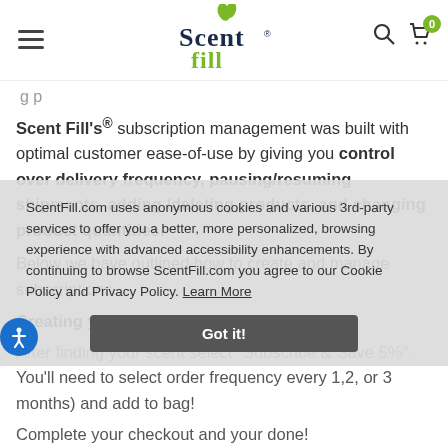[Figure (logo): ScentFill brand logo with green leaf accent and navy/green text]
g p
Scent Fill's® subscription management was built with optimal customer ease-of-use by giving you control over delivery frequency, pausing/resuming shipments, adding /deleting products, and changing product quantities.
Below we have outlined how to create and manage subscriptions.
Creating your first Subscription order:
After finding your scent select "Subscribe & Save 5%". You'll need to select order frequency every 1,2, or 3 months) and add to bag!
Complete your checkout and your done!
ScentFill.com uses anonymous cookies and various 3rd-party services to offer you a better, more personalized, browsing experience with advanced accessibility enhancements. By continuing to browse ScentFill.com you agree to our Cookie Policy and Privacy Policy. Learn More
[Figure (screenshot): Got it! cookie consent button overlay]